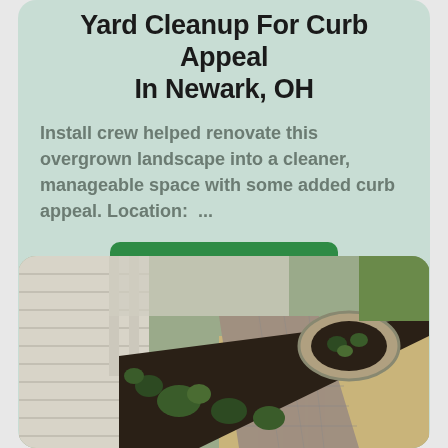Yard Cleanup For Curb Appeal In Newark, OH
Install crew helped renovate this overgrown landscape into a cleaner, manageable space with some added curb appeal. Location:  ...
Read The Article
[Figure (photo): Landscaped front yard showing a paver walkway, mulched planting bed with small shrubs, a circular stone-edged garden feature, and straw-covered lawn area beside a white-sided house with a covered porch.]